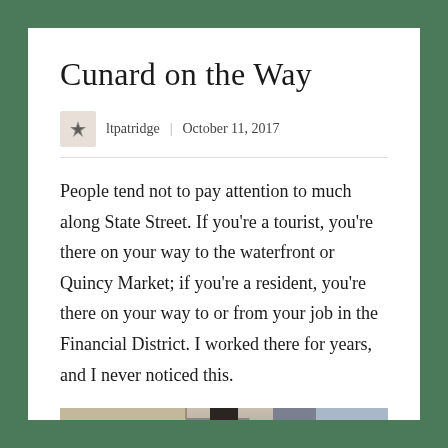Cunard on the Way
ltpatridge  |  October 11, 2017
People tend not to pay attention to much along State Street. If you're a tourist, you're there on your way to the waterfront or Quincy Market; if you're a resident, you're there on your way to or from your job in the Financial District. I worked there for years, and I never noticed this.
[Figure (photo): Street-level photograph looking up at a building corner with a lamp post in the foreground, showing a beige/stone building facade against a partly cloudy sky, with a red brick building visible in the background.]